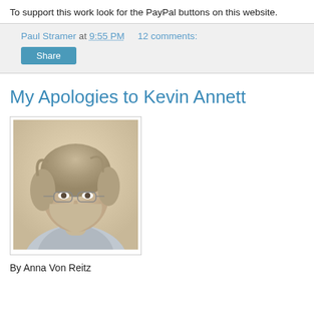To support this work look for the PayPal buttons on this website.
Paul Stramer at 9:55 PM   12 comments:
Share
My Apologies to Kevin Annett
[Figure (photo): Portrait photo of an older woman with short gray hair and glasses, wearing a light blue top]
By Anna Von Reitz